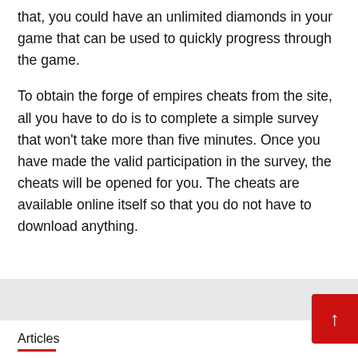that, you could have an unlimited diamonds in your game that can be used to quickly progress through the game.
To obtain the forge of empires cheats from the site, all you have to do is to complete a simple survey that won't take more than five minutes. Once you have made the valid participation in the survey, the cheats will be opened for you. The cheats are available online itself so that you do not have to download anything.
Articles
Sniper 3d Assassin Hack provides you with unlimited items
admin